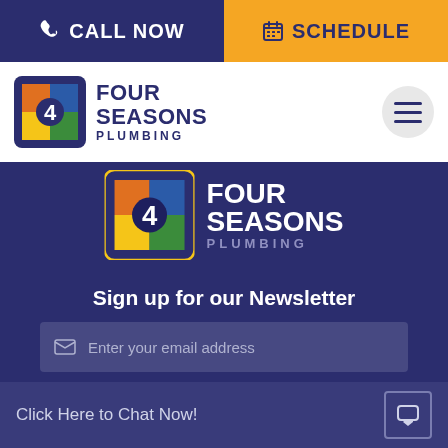CALL NOW | SCHEDULE
[Figure (logo): Four Seasons Plumbing logo in navigation bar]
[Figure (logo): Four Seasons Plumbing logo large in dark blue section]
Sign up for our Newsletter
Enter your email address
SUBSCRIBE
Click Here to Chat Now!
About Us